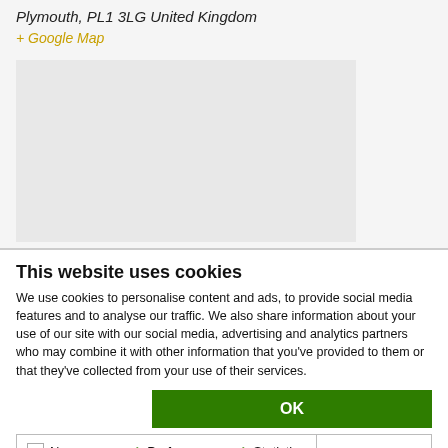Plymouth, PL1 3LG United Kingdom
+ Google Map
[Figure (map): Google Map placeholder showing a grey map area]
This website uses cookies
We use cookies to personalise content and ads, to provide social media features and to analyse our traffic. We also share information about your use of our site with our social media, advertising and analytics partners who may combine it with other information that you've provided to them or that they've collected from your use of their services.
OK
| Necessary | Preferences | Statistics | Show details |
| Marketing |  |  |  |